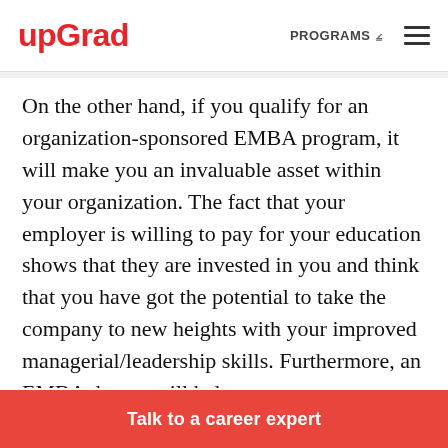upGrad | PROGRAMS
On the other hand, if you qualify for an organization-sponsored EMBA program, it will make you an invaluable asset within your organization. The fact that your employer is willing to pay for your education shows that they are invested in you and think that you have got the potential to take the company to new heights with your improved managerial/leadership skills. Furthermore, an EMBA degree will help you
Talk to a career expert